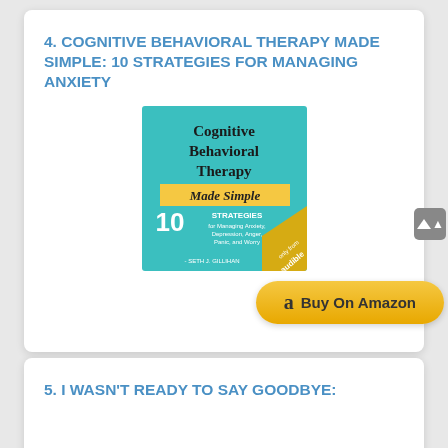4. COGNITIVE BEHAVIORAL THERAPY MADE SIMPLE: 10 STRATEGIES FOR MANAGING ANXIETY
[Figure (illustration): Book cover of 'Cognitive Behavioral Therapy Made Simple' by Seth J. Gillihan, teal/aqua background with yellow banner reading 'Made Simple' and '10 STRATEGIES for Managing Anxiety, Depression, Anger, Panic, and Worry'. Audible badge in bottom right corner.]
[Figure (logo): Buy On Amazon button with Amazon 'a' logo, gold/yellow rounded rectangle button]
5. I WASN'T READY TO SAY GOODBYE: